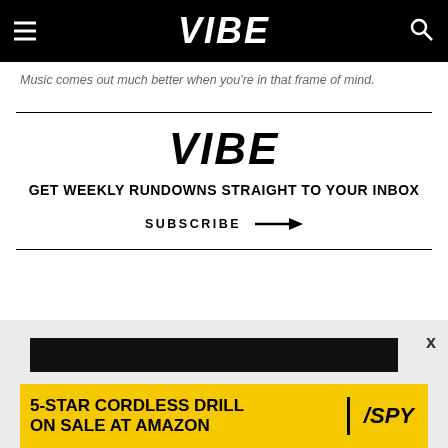VIBE
Music comes out much better when you're in that frame of mind.
[Figure (logo): VIBE magazine logo in bold italic black text]
GET WEEKLY RUNDOWNS STRAIGHT TO YOUR INBOX
SUBSCRIBE →
READ MORE ABOUT
NEWS
[Figure (infographic): Advertisement banner: 5-STAR CORDLESS DRILL ON SALE AT AMAZON / SPY logo on yellow background]